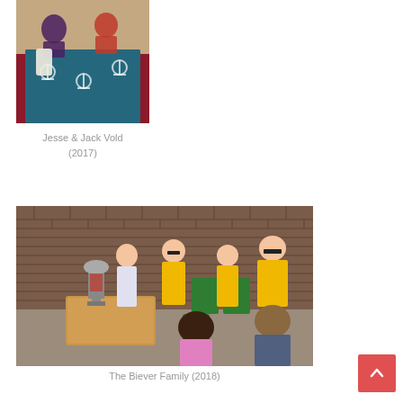[Figure (photo): Two people sitting together, one wearing a purple shirt, with a blue and green anchor-patterned blanket or fabric in the foreground]
Jesse & Jack Vold (2017)
[Figure (photo): Group of people outdoors against a brick wall, several wearing yellow t-shirts, with a trophy on a wooden table, some seated in the foreground]
The Biever Family (2018)